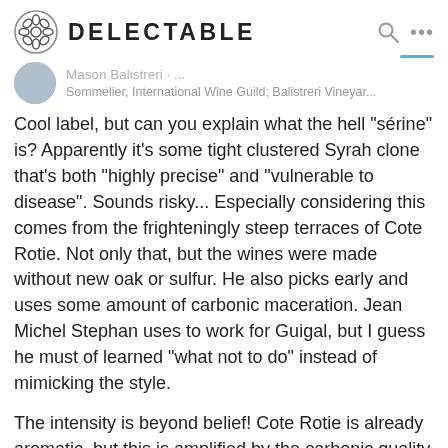DELECTABLE
Mason Balistreri · ...
Sommelier, International Wine Guild; Balistreri Vineyar...
Cool label, but can you explain what the hell "sérine" is? Apparently it's some tight clustered Syrah clone that's both "highly precise" and "vulnerable to disease". Sounds risky... Especially considering this comes from the frighteningly steep terraces of Cote Rotie. Not only that, but the wines were made without new oak or sulfur. He also picks early and uses some amount of carbonic maceration. Jean Michel Stephan uses to work for Guigal, but I guess he must of learned "what not to do" instead of mimicking the style.
The intensity is beyond belief! Cote Rotie is already aromatic, but this is amplified by the carbonic quality. Further, there's a large amount of Viognier here too, which lends a bright tropical punch in the midst of classic Syrah notes (tapenade? meatiness?). There's some similarity to the Matthieu Barret Cornas I just drank, but this has far more clarity in the aromatics - a quality both important and underrated. So